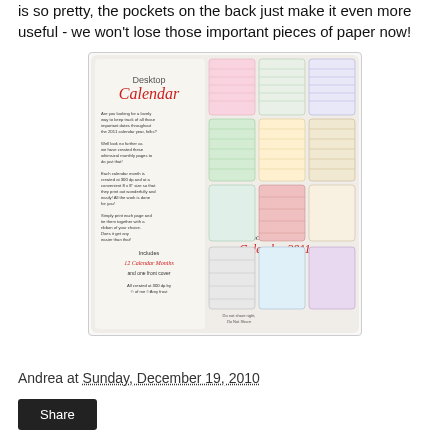is so pretty, the pockets on the back just make it even more useful - we won't lose those important pieces of paper now!
[Figure (illustration): Desktop Calendar 2011 promotional image showing multiple decorative monthly calendar pages arranged in a grid, with text describing the calendar product by NaWaCollections]
Andrea at Sunday, December 19, 2010
Share